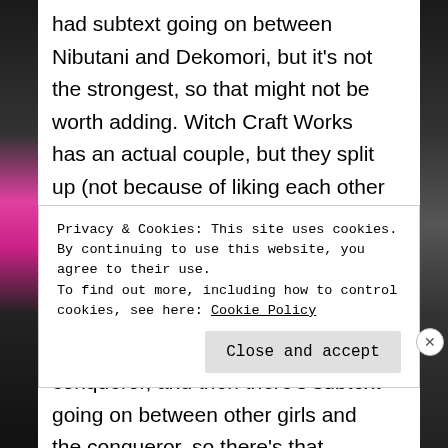had subtext going on between Nibutani and Dekomori, but it's not the strongest, so that might not be worth adding. Witch Craft Works has an actual couple, but they split up (not because of liking each other less) because they couldn't really have kids like that. They still definitely like each other. World Conqueror Zvezda has a girl who definitely is in love with the loli conqueror, and then there's subtext going on between other girls and the conqueror, so there's that. Wake up, Girls! has some subtext going on
Privacy & Cookies: This site uses cookies. By continuing to use this website, you agree to their use.
To find out more, including how to control cookies, see here: Cookie Policy
Close and accept